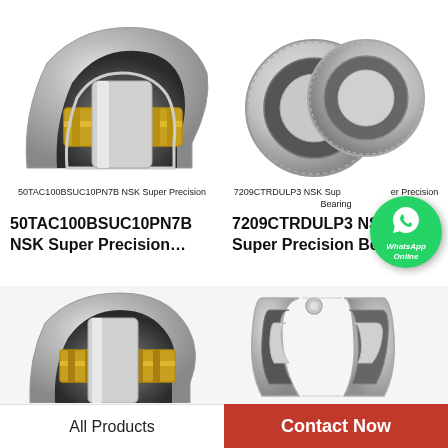[Figure (photo): Cross-section photo of NSK cylindrical roller bearing 50TAC100BSUC10PN7B with gold-colored cage, silver metallic finish]
50TAC100BSUC10PN7B NSK Super Precision
[Figure (photo): Photo of two NSK tapered roller bearings 7209CTRDULP3 side by side, silver metallic finish]
7209CTRDULP3 NSK Super Precision Bearing
[Figure (photo): WhatsApp contact badge overlay — green circle with phone icon and WhatsApp Online text]
50TAC100BSUC10PN7B NSK Super Precision…
7209CTRDULP3 NSK Super Precision Bearings
[Figure (photo): Cross-section photo of NSK cylindrical roller bearing with gold cage, bottom-left product]
[Figure (photo): Cross-section photo of NSK deep-groove ball bearing opened up, bottom-right product]
All Products
Contact Now